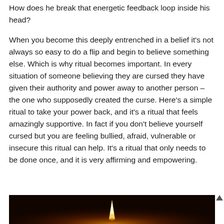How does he break that energetic feedback loop inside his head?
When you become this deeply entrenched in a belief it's not always so easy to do a flip and begin to believe something else. Which is why ritual becomes important. In every situation of someone believing they are cursed they have given their authority and power away to another person – the one who supposedly created the curse. Here's a simple ritual to take your power back, and it's a ritual that feels amazingly supportive. In fact if you don't believe yourself cursed but you are feeling bullied, afraid, vulnerable or insecure this ritual can help. It's a ritual that only needs to be done once, and it is very affirming and empowering.
[Figure (photo): Dark image showing a candle flame against a black background, partially visible at the bottom of the page.]